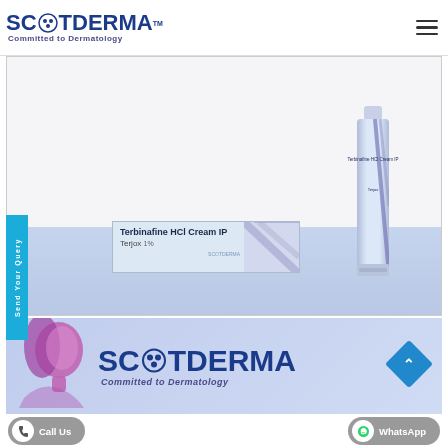[Figure (logo): Scotderma logo with tagline 'Committed to Dermatology' and hamburger menu icon]
[Figure (photo): Product photo of Terbinafine HCl Cream IP (Terjox) showing a product box and a tube on a light blue platform/display stand]
[Figure (logo): Scotderma brand banner at bottom showing logo and tagline 'Committed to Dermatology' with decorative face silhouette and diamond scroll-to-top button]
Send Your Query
Call Us
WhatsApp